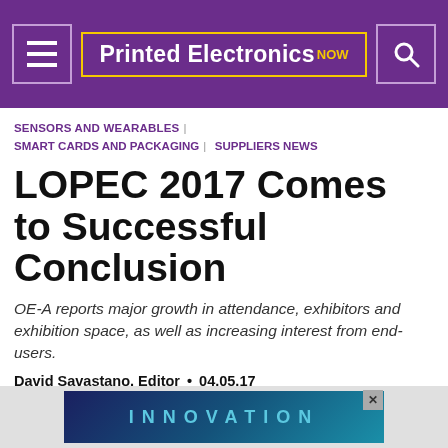Printed Electronics NOW
SENSORS AND WEARABLES | SMART CARDS AND PACKAGING | SUPPLIERS NEWS
LOPEC 2017 Comes to Successful Conclusion
OE-A reports major growth in attendance, exhibitors and exhibition space, as well as increasing interest from end-users.
David Savastano, Editor  •  04.05.17
3D PRINTING | ADHESIVES, BARRIERS AND ENCAPSULANTS | CONDUCTIVE INKS AND COATINGS | DISPLAYS AND LIGHTING |
[Figure (screenshot): Advertisement banner showing the word INNOVATION in teal letters on a dark blue gradient background]